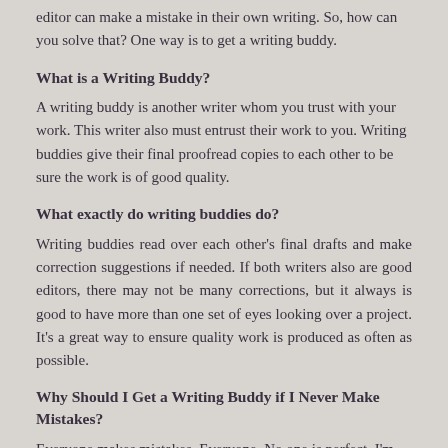editor can make a mistake in their own writing. So, how can you solve that? One way is to get a writing buddy.
What is a Writing Buddy?
A writing buddy is another writer whom you trust with your work. This writer also must entrust their work to you. Writing buddies give their final proofread copies to each other to be sure the work is of good quality.
What exactly do writing buddies do?
Writing buddies read over each other's final drafts and make correction suggestions if needed. If both writers also are good editors, there may not be many corrections, but it always is good to have more than one set of eyes looking over a project. It's a great way to ensure quality work is produced as often as possible.
Why Should I Get a Writing Buddy if I Never Make Mistakes?
Everyone makes mistakes. Everyone. No one is perfect. I'm sure that